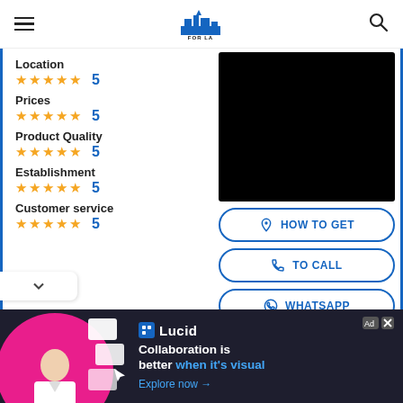FOR LA LOVERS
Location ★★★★★ 5
Prices ★★★★★ 5
Product Quality ★★★★★ 5
Establishment ★★★★★ 5
Customer service ★★★★★ 5
[Figure (other): Black video thumbnail placeholder]
HOW TO GET
TO CALL
WHATSAPP
[Figure (infographic): Lucid advertisement banner: Collaboration is better when it's visual. Explore now →]